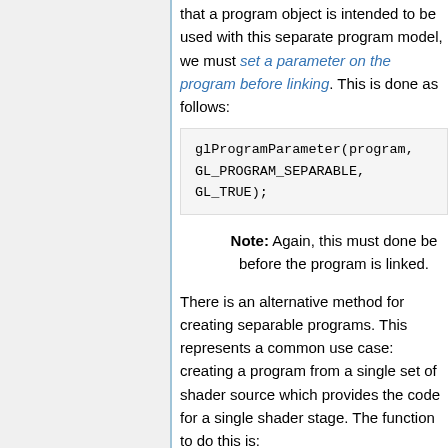that a program object is intended to be used with this separate program model, we must set a parameter on the program before linking. This is done as follows:
glProgramParameter(program, GL_PROGRAM_SEPARABLE, GL_TRUE);
Note: Again, this must done be before the program is linked.
There is an alternative method for creating separable programs. This represents a common use case: creating a program from a single set of shader source which provides the code for a single shader stage. The function to do this is:
GLuint glCreateShaderProgramv(GLenum